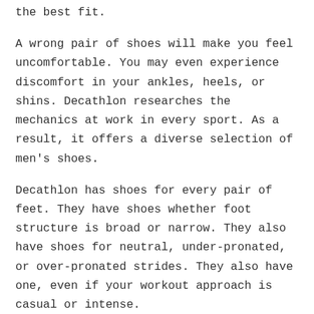the best fit.
A wrong pair of shoes will make you feel uncomfortable. You may even experience discomfort in your ankles, heels, or shins. Decathlon researches the mechanics at work in every sport. As a result, it offers a diverse selection of men's shoes.
Decathlon has shoes for every pair of feet. They have shoes whether foot structure is broad or narrow. They also have shoes for neutral, under-pronated, or over-pronated strides. They also have one, even if your workout approach is casual or intense.